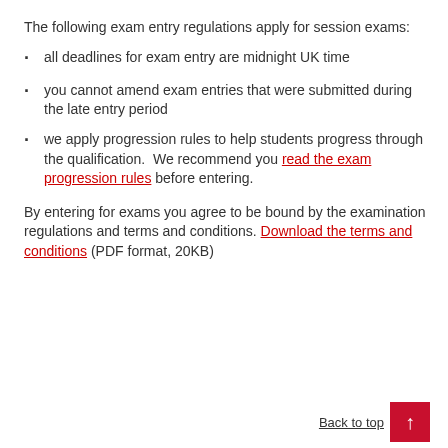The following exam entry regulations apply for session exams:
all deadlines for exam entry are midnight UK time
you cannot amend exam entries that were submitted during the late entry period
we apply progression rules to help students progress through the qualification.  We recommend you read the exam progression rules before entering.
By entering for exams you agree to be bound by the examination regulations and terms and conditions. Download the terms and conditions (PDF format, 20KB)
Back to top